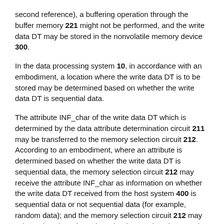second reference), a buffering operation through the buffer memory 221 might not be performed, and the write data DT may be stored in the nonvolatile memory device 300.
In the data processing system 10, in accordance with an embodiment, a location where the write data DT is to be stored may be determined based on whether the write data DT is sequential data.
The attribute INF_char of the write data DT which is determined by the data attribute determination circuit 211 may be transferred to the memory selection circuit 212. According to an embodiment, where an attribute is determined based on whether the write data DT is sequential data, the memory selection circuit 212 may receive the attribute INF_char as information on whether the write data DT received from the host system 400 is sequential data or not sequential data (for example, random data); and the memory selection circuit 212 may select a location where the write data DT is to be stored, based on the received attribute INF_char.